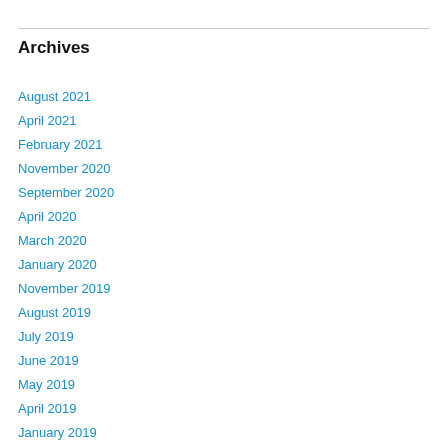Archives
August 2021
April 2021
February 2021
November 2020
September 2020
April 2020
March 2020
January 2020
November 2019
August 2019
July 2019
June 2019
May 2019
April 2019
January 2019
December 2018